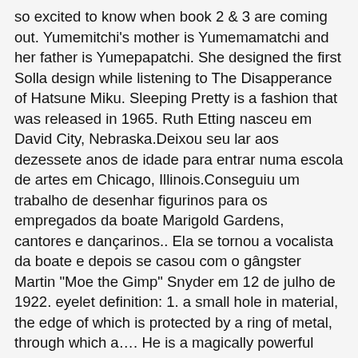so excited to know when book 2 & 3 are coming out. Yumemitchi's mother is Yumemamatchi and her father is Yumepapatchi. She designed the first Solla design while listening to The Disapperance of Hatsune Miku. Sleeping Pretty is a fashion that was released in 1965. Ruth Etting nasceu em David City, Nebraska.Deixou seu lar aos dezessete anos de idade para entrar numa escola de artes em Chicago, Illinois.Conseguiu um trabalho de desenhar figurinos para os empregados da boate Marigold Gardens, cantores e dançarinos.. Ela se tornou a vocalista da boate e depois se casou com o gângster Martin "Moe the Gimp" Snyder em 12 de julho de 1922. eyelet definition: 1. a small hole in material, the edge of which is protected by a ring of metal, through which a…. He is a magically powerful tyrant who ruled and terrorized Equestria in ancient times. Prep School Lalaloopsy: Band Together Batter Up! The cheongsam (UK: / tʃ (i) ɒ ŋ ˈ s æ m /, US: / tʃ ɔː ŋ ˈ s ɑː m /), also known as the qipao (/ ˈ tʃ iː p aʊ /), is a type of body-hugging dress of Manchu origin. Star Butterfly has worn several different outfits throughout the series